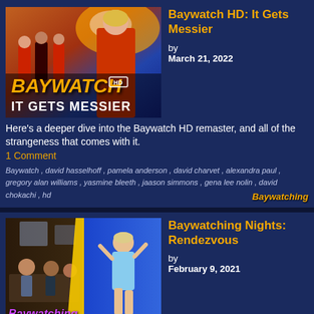[Figure (photo): Baywatch HD: It Gets Messier thumbnail showing cast running on beach with Baywatch HD logo and 'IT GETS MESSIER' text]
Baywatch HD: It Gets Messier
by
March 21, 2022
Here's a deeper dive into the Baywatch HD remaster, and all of the strangeness that comes with it.
1 Comment
Baywatch, david hasselhoff, pamela anderson, david charvet, alexandra paul, gregory alan williams, yasmine bleeth, jaason simmons, gena lee nolin, david chokachi, hd
[Figure (photo): Baywatching Nights: Rendezvous thumbnail showing two scenes side by side with Baywatching logo]
Baywatching Nights: Rendezvous
by
February 9, 2021